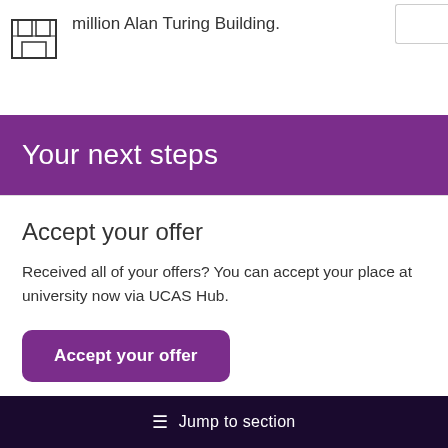million Alan Turing Building.
Your next steps
Accept your offer
Received all of your offers? You can accept your place at university now via UCAS Hub.
Accept your offer
≡  Jump to section